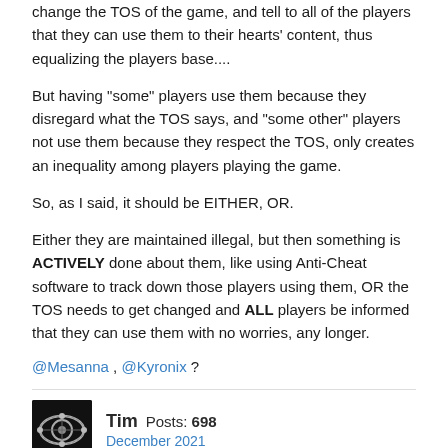change the TOS of the game, and tell to all of the players that they can use them to their hearts' content, thus equalizing the players base....
But having "some" players use them because they disregard what the TOS says, and "some other" players not use them because they respect the TOS, only creates an inequality among players playing the game.
So, as I said, it should be EITHER, OR.
Either they are maintained illegal, but then something is ACTIVELY done about them, like using Anti-Cheat software to track down those players using them, OR the TOS needs to get changed and ALL players be informed that they can use them with no worries, any longer.
@Mesanna , @Kyronix ?
Tim  Posts: 698
December 2021
When ever this comes up I have to ask because I really don't know.